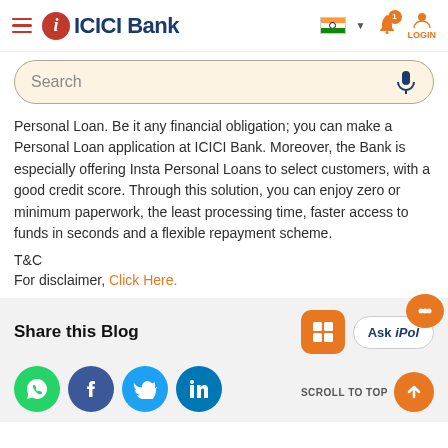[Figure (screenshot): ICICI Bank website header with hamburger menu, ICICI Bank logo, India flag with dropdown, notification bell with badge, and LOGIN icon]
[Figure (screenshot): Search bar with microphone icon on cream/beige background with rounded border]
Personal Loan. Be it any financial obligation; you can make a Personal Loan application at ICICI Bank. Moreover, the Bank is especially offering Insta Personal Loans to select customers, with a good credit score. Through this solution, you can enjoy zero or minimum paperwork, the least processing time, faster access to funds in seconds and a flexible repayment scheme.
T&C
For disclaimer, Click Here.
Share this Blog
[Figure (screenshot): Social share buttons: WhatsApp (green), Facebook (dark blue), Twitter (blue), LinkedIn (blue), plus grid button and Ask iPol chat widget, and Scroll to Top button]